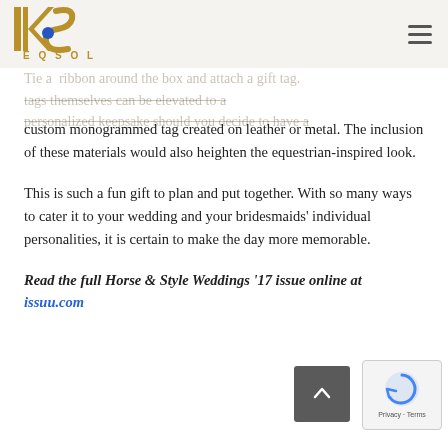[Figure (logo): EQSOL logo with stylized letters and gold/blue coloring]
Tie a ribbon around the box and attach a gift tag. The tags themselves can be elevated to a personalized keepsake should you decide to have a custom monogrammed tag created on leather or metal. The inclusion of these materials would also heighten the equestrian-inspired look.
This is such a fun gift to plan and put together. With so many ways to cater it to your wedding and your bridesmaids' individual personalities, it is certain to make the day more memorable.
Read the full Horse & Style Weddings '17 issue online at issuu.com